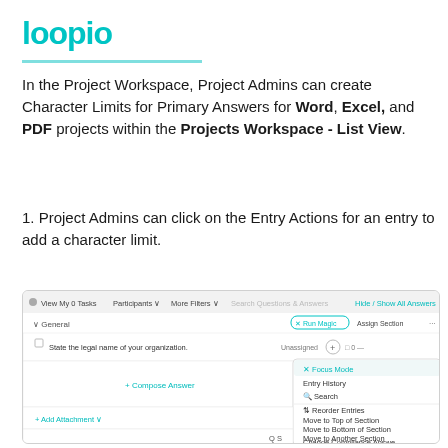[Figure (logo): Loopio logo in teal color]
In the Project Workspace, Project Admins can create Character Limits for Primary Answers for Word, Excel, and PDF projects within the Projects Workspace - List View.
1. Project Admins can click on the Entry Actions for an entry to add a character limit.
[Figure (screenshot): Screenshot of Loopio Projects Workspace showing a dropdown menu with options: Focus Mode, Entry History, Search, Reorder Entries, Move to Top of Section, Move to Bottom of Section, Move to Another Section, Change Compliance Answer. The workspace shows a General section with an entry 'State the legal name of your organization.' marked Unassigned, with a + Compose Answer button.]